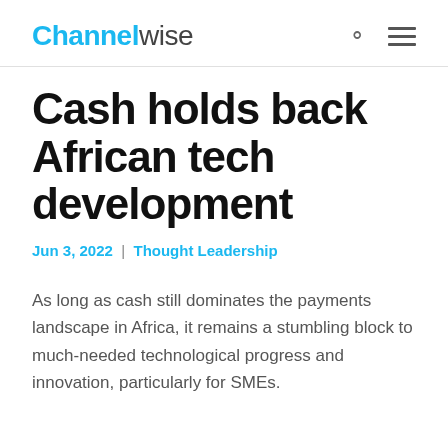Channelwise
Cash holds back African tech development
Jun 3, 2022 | Thought Leadership
As long as cash still dominates the payments landscape in Africa, it remains a stumbling block to much-needed technological progress and innovation, particularly for SMEs.